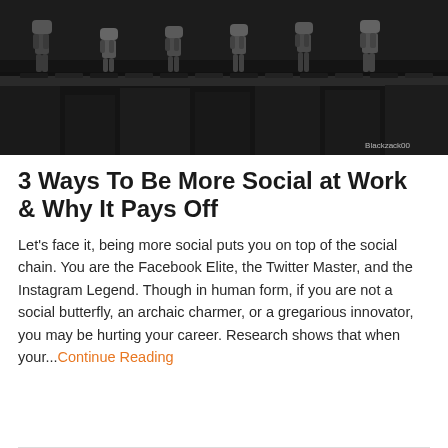[Figure (photo): Black and white photograph of LEGO minifigures arranged on a surface, with a watermark reading 'Blackzack00' in the bottom right corner]
3 Ways To Be More Social at Work & Why It Pays Off
Let's face it, being more social puts you on top of the social chain. You are the Facebook Elite, the Twitter Master, and the Instagram Legend. Though in human form, if you are not a social butterfly, an archaic charmer, or a gregarious innovator, you may be hurting your career. Research shows that when your...Continue Reading